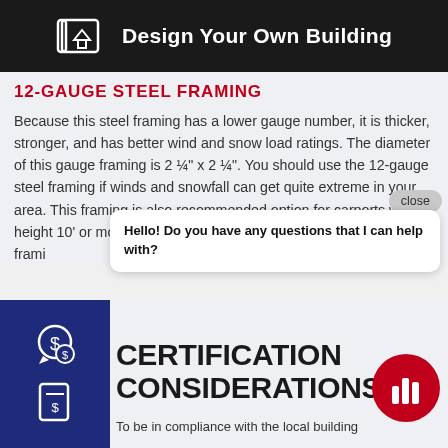Design Your Own Building
12-GAUGE STEEL FRAMING
Because this steel framing has a lower gauge number, it is thicker, stronger, and has better wind and snow load ratings. The diameter of this gauge framing is 2 ¼" x 2 ¼". You should use the 12-gauge steel framing if winds and snowfall can get quite extreme in your area. This framing is also recommended option for carports with height 10' or more. Millennium Buildings does offer e[xtra] framin[g]
Hello! Do you have any questions that I can help with?
CERTIFICATION CONSIDERATIONS
To be in compliance with the local building